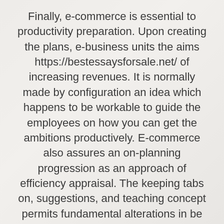Finally, e-commerce is essential to productivity preparation. Upon creating the plans, e-business units the aims https://bestessaysforsale.net/ of increasing revenues. It is normally made by configuration an idea which happens to be workable to guide the employees on how you can get the ambitions productively. E-commerce also assures an on-planning progression as an approach of efficiency appraisal. The keeping tabs on, suggestions, and teaching concept permits fundamental alterations in be done in the functionality of a agency. By using e-trade, neighborhood networks, and diverse neighborhood network systems support